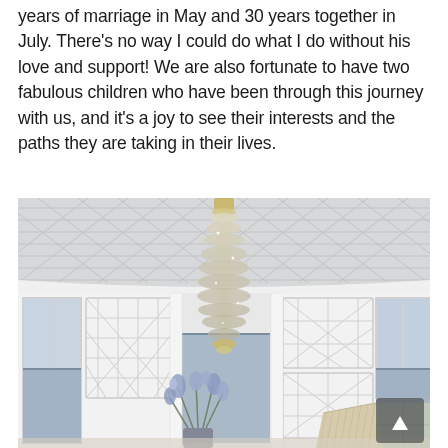years of marriage in May and 30 years together in July. There's no way I could do what I do without his love and support! We are also fortunate to have two fabulous children who have been through this journey with us, and it's a joy to see their interests and the paths they are taking in their lives.
[Figure (photo): Interior room photo showing an elegant space with a large tiered crystal chandelier hanging from a white coffered/lattice ceiling. White walls feature decorative criss-cross lattice panel moldings. Tall windows dressed with soft blue/grey roller blinds. A lamp with pleated shade visible at bottom right. Blue floral arrangement visible at bottom center.]